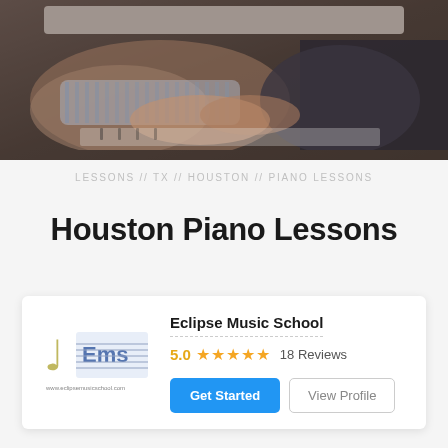[Figure (photo): Hero image showing hands playing piano, dark moody background with brownish overlay. White search bar at top.]
LESSONS // TX // HOUSTON // PIANO LESSONS
Houston Piano Lessons
Eclipse Music School
5.0 ★★★★★ 18 Reviews
Get Started  View Profile